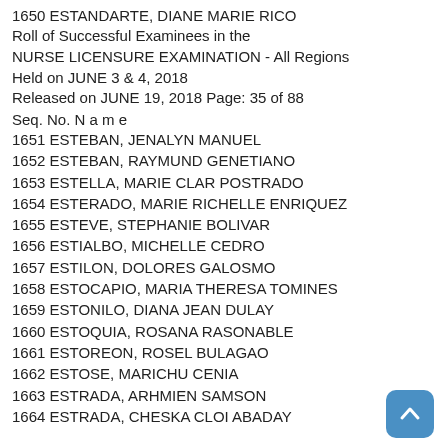1650 ESTANDARTE, DIANE MARIE RICO
Roll of Successful Examinees in the
NURSE LICENSURE EXAMINATION - All Regions
Held on JUNE 3 & 4, 2018
Released on JUNE 19, 2018 Page: 35 of 88
Seq. No. N a m e
1651 ESTEBAN, JENALYN MANUEL
1652 ESTEBAN, RAYMUND GENETIANO
1653 ESTELLA, MARIE CLAR POSTRADO
1654 ESTERADO, MARIE RICHELLE ENRIQUEZ
1655 ESTEVE, STEPHANIE BOLIVAR
1656 ESTIALBO, MICHELLE CEDRO
1657 ESTILON, DOLORES GALOSMO
1658 ESTOCAPIO, MARIA THERESA TOMINES
1659 ESTONILO, DIANA JEAN DULAY
1660 ESTOQUIA, ROSANA RASONABLE
1661 ESTOREON, ROSEL BULAGAO
1662 ESTOSE, MARICHU CENIA
1663 ESTRADA, ARHMIEN SAMSON
1664 ESTRADA, CHESKA CLOI ABADAY